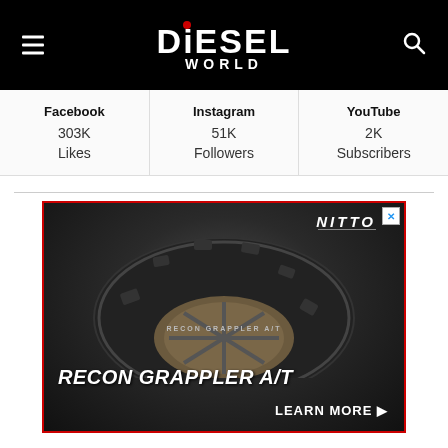[Figure (logo): Diesel World logo in white on black header bar with hamburger menu icon on left and search icon on right]
| Facebook | Instagram | YouTube |
| --- | --- | --- |
| 303K
Likes | 51K
Followers | 2K
Subscribers |
[Figure (photo): Nitto Recon Grappler A/T tire advertisement showing a close-up of the tire tread on a bronze wheel against a dark background. Text reads RECON GRAPPLER A/T and LEARN MORE with a play arrow.]